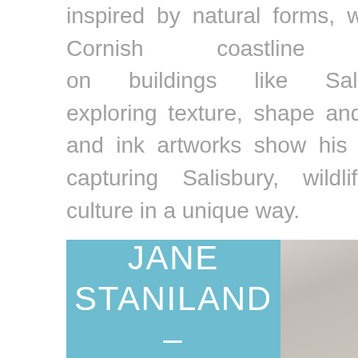inspired by natural forms, whether it be the Cornish coastline or lichen on buildings like Salisbury Cathedral, exploring texture, shape and light. The paint and ink artworks show his artistic talent for capturing Salisbury, wildlife and popular culture in a unique way.
IMAGE:  OWL ON POST
instagram.com/richpturley/
[Figure (other): Blue box with white text reading JANE STANILAND - and a partial photo of a sculptural figure on the right]